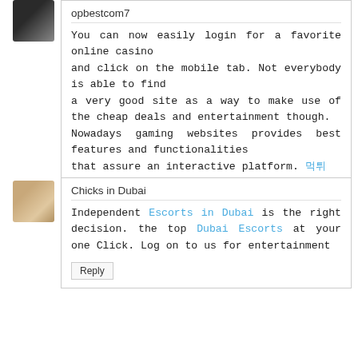opbestcom7
You can now easily login for a favorite online casino and click on the mobile tab. Not everybody is able to find a very good site as a way to make use of the cheap deals and entertainment though.
Nowadays gaming websites provides best features and functionalities that assure an interactive platform. 먹튀
Reply
Chicks in Dubai
Independent Escorts in Dubai is the right decision. the top Dubai Escorts at your one Click. Log on to us for entertainment
Reply